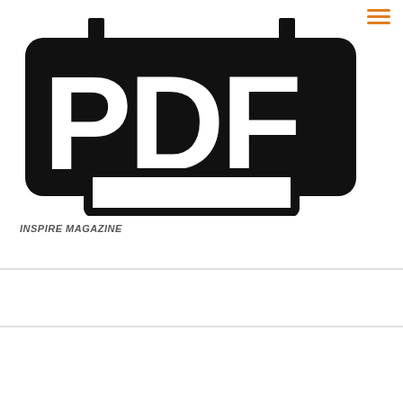[Figure (logo): Large black PDF stamp/label icon with rounded rectangle and 'PDF' text in bold white letters]
INSPIRE MAGAZINE
189 Views
[Figure (logo): Black PDF file icon (document shape with folded corner) with 'PDF' text at bottom, partially visible]